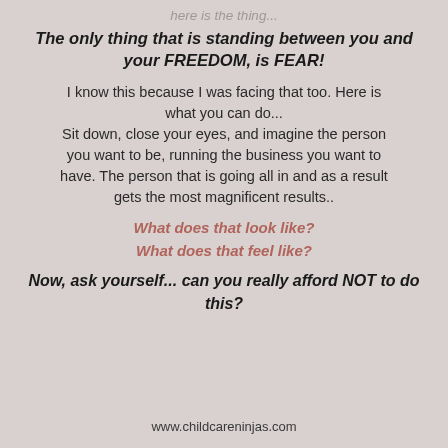here is the thing...
The only thing that is standing between you and your FREEDOM, is FEAR!
I know this because I was facing that too. Here is what you can do... Sit down, close your eyes, and imagine the person you want to be, running the business you want to have. The person that is going all in and as a result gets the most magnificent results..
What does that look like?
What does that feel like?
Now, ask yourself... can you really afford NOT to do this?
www.childcareninjas.com